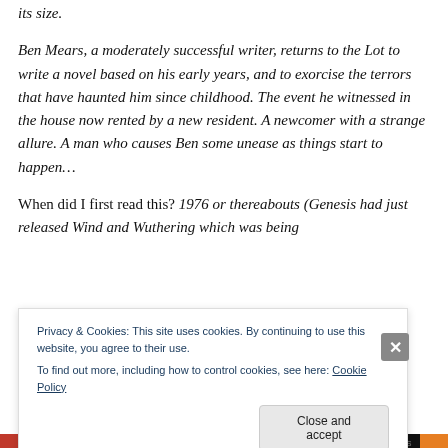its size.
Ben Mears, a moderately successful writer, returns to the Lot to write a novel based on his early years, and to exorcise the terrors that have haunted him since childhood. The event he witnessed in the house now rented by a new resident. A newcomer with a strange allure. A man who causes Ben some unease as things start to happen…
When did I first read this? 1976 or thereabouts (Genesis had just released Wind and Wuthering which was being
Privacy & Cookies: This site uses cookies. By continuing to use this website, you agree to their use.
To find out more, including how to control cookies, see here: Cookie Policy